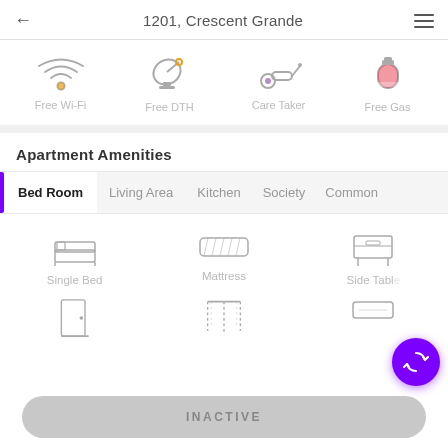1201, Crescent Grande
[Figure (screenshot): Amenities row with four icons: Free Wi-Fi, Free DTH, Care Taker, Free Gas]
Apartment Amenities
[Figure (screenshot): Tab bar with tabs: Bed Room (active), Living Area, Kitchen, Society, Common]
[Figure (screenshot): Grid of bedroom amenity icons: Single Bed, Mattress, Side Table (partially visible), and partial row below]
INACTIVE